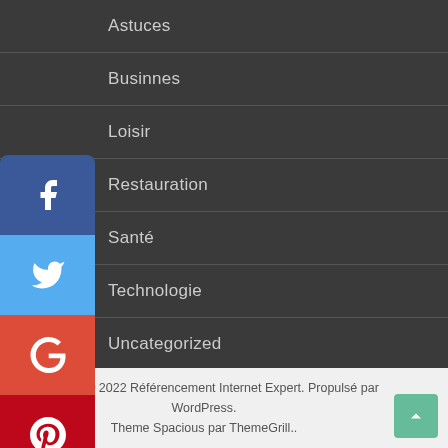Astuces
Businnes
Loisir
Restauration
Santé
Technologie
Uncategorized
Voyage
[Figure (infographic): Social share sidebar buttons: Facebook (blue), Twitter (light blue), Google+ (red), Pinterest (dark red), Print (dark navy), Favorite/heart (purple), Email (orange-red)]
Copyright © 2022 Référencement Internet Expert. Propulsé par WordPress. Theme Spacious par ThemeGrill..